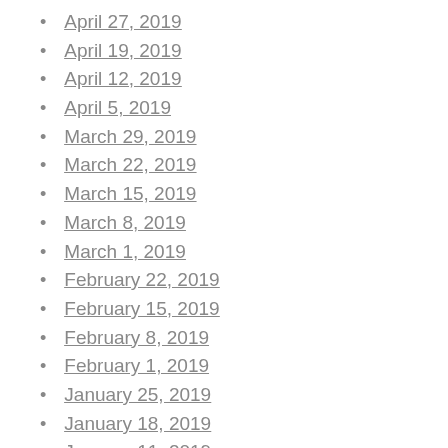April 27, 2019
April 19, 2019
April 12, 2019
April 5, 2019
March 29, 2019
March 22, 2019
March 15, 2019
March 8, 2019
March 1, 2019
February 22, 2019
February 15, 2019
February 8, 2019
February 1, 2019
January 25, 2019
January 18, 2019
January 11, 2019
January 4, 2019
December 28, 2018
December 21,